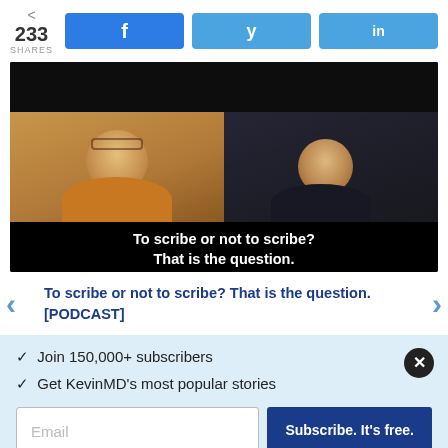233 SHARES
[Figure (screenshot): Video thumbnail showing two people in a split-screen video call. Left person in orange shirt, right person in dark jacket. Video subtitle reads: 'To scribe or not to scribe? That is the question.']
To scribe or not to scribe? That is the question. [PODCAST]
✓ Join 150,000+ subscribers
✓ Get KevinMD's most popular stories
Email | Subscribe. It's free.